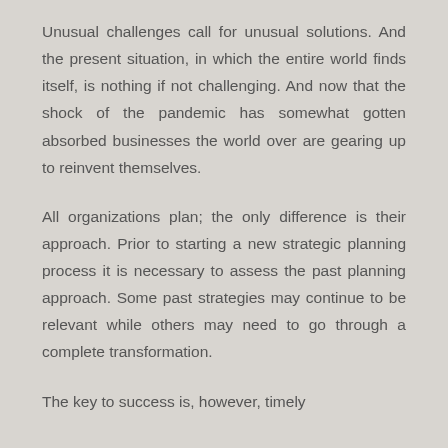Unusual challenges call for unusual solutions. And the present situation, in which the entire world finds itself, is nothing if not challenging. And now that the shock of the pandemic has somewhat gotten absorbed businesses the world over are gearing up to reinvent themselves.
All organizations plan; the only difference is their approach. Prior to starting a new strategic planning process it is necessary to assess the past planning approach. Some past strategies may continue to be relevant while others may need to go through a complete transformation.
The key to success is, however, timely